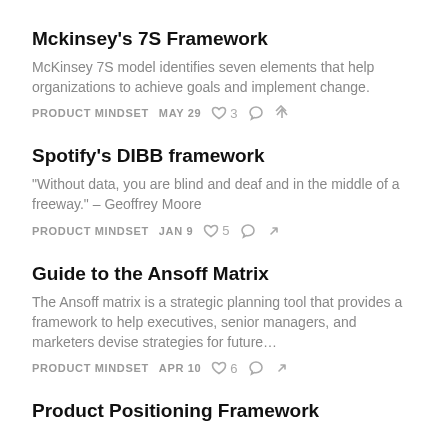Mckinsey's 7S Framework
McKinsey 7S model identifies seven elements that help organizations to achieve goals and implement change.
PRODUCT MINDSET   MAY 29   ♡ 3   ○   ↗
Spotify's DIBB framework
“Without data, you are blind and deaf and in the middle of a freeway.” – Geoffrey Moore
PRODUCT MINDSET   JAN 9   ♡ 5   ○   ↗
Guide to the Ansoff Matrix
The Ansoff matrix is a strategic planning tool that provides a framework to help executives, senior managers, and marketers devise strategies for future…
PRODUCT MINDSET   APR 10   ♡ 6   ○   ↗
Product Positioning Framework